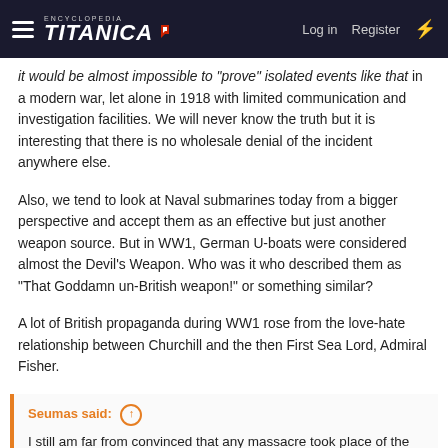Encyclopedia Titanica | Log in | Register
it would be almost impossible to "prove" isolated events like that in a modern war, let alone in 1918 with limited communication and investigation facilities. We will never know the truth but it is interesting that there is no wholesale denial of the incident anywhere else.
Also, we tend to look at Naval submarines today from a bigger perspective and accept them as an effective but just another weapon source. But in WW1, German U-boats were considered almost the Devil's Weapon. Who was it who described them as "That Goddamn un-British weapon!" or something similar?
A lot of British propaganda during WW1 rose from the love-hate relationship between Churchill and the then First Sea Lord, Admiral Fisher.
Seumas said: ↑
I still am far from convinced that any massacre took place of the UB-110.